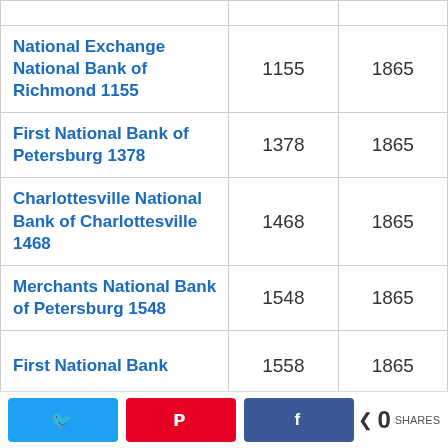| Bank Name | Charter # | Year |
| --- | --- | --- |
| National Exchange National Bank of Richmond 1155 | 1155 | 1865 |
| First National Bank of Petersburg 1378 | 1378 | 1865 |
| Charlottesville National Bank of Charlottesville 1468 | 1468 | 1865 |
| Merchants National Bank of Petersburg 1548 | 1548 | 1865 |
| First National Bank | 1558 | 1865 |